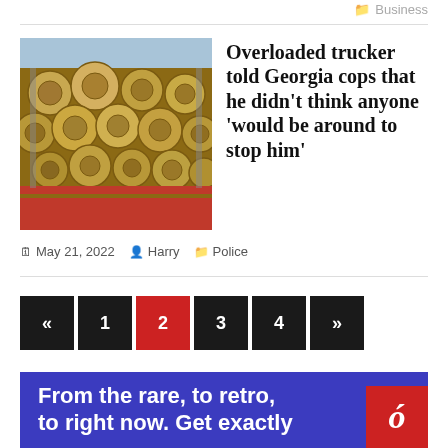Business
[Figure (photo): A large stack of cut logs loaded on a red truck, viewed from the side, sky visible in the background.]
Overloaded trucker told Georgia cops that he didn't think anyone 'would be around to stop him'
May 21, 2022  Harry  Police
« 1 2 3 4 »
[Figure (infographic): Blue advertisement banner with white bold text: 'From the rare, to retro, to right now. Get exactly' with a red box containing a white italic 'G' logo in the lower right corner.]